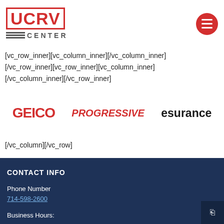[Figure (logo): UCRV Center logo with red block letters and horizontal lines above CENTER text]
[vc_row_inner][vc_column_inner][/vc_column_inner][/vc_row_inner][vc_row_inner][vc_column_inner][/vc_column_inner][/vc_row_inner]
[Figure (logo): Three insurance brand logos: GEICO (red bold), PROGRESSIVE (red italic), esurance (dark bold)]
[/vc_column][/vc_row]
CONTACT INFO
Phone Number
714-598-2600
Business Hours: